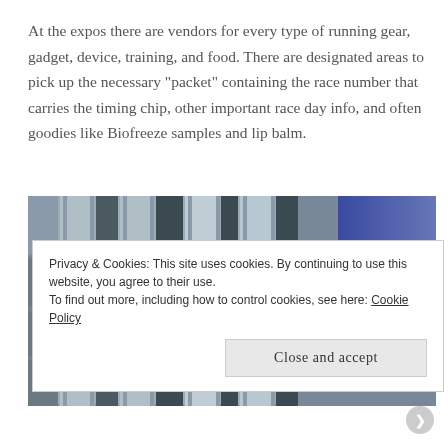At the expos there are vendors for every type of running gear, gadget, device, training, and food. There are designated areas to pick up the necessary "packet" containing the race number that carries the timing chip, other important race day info, and often goodies like Biofreeze samples and lip balm.
[Figure (photo): Photo of a building exterior with large columns and a blue banner showing the number 10]
Privacy & Cookies: This site uses cookies. By continuing to use this website, you agree to their use.
To find out more, including how to control cookies, see here: Cookie Policy
Close and accept